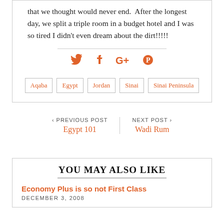that we thought would never end. After the longest day, we split a triple room in a budget hotel and I was so tired I didn't even dream about the dirt!!!!!
[Figure (infographic): Social media share icons: Twitter (bird), Facebook (f), Google+ (G+), Pinterest (P) in orange]
Aqaba
Egypt
Jordan
Sinai
Sinai Peninsula
‹ PREVIOUS POST
Egypt 101
NEXT POST ›
Wadi Rum
YOU MAY ALSO LIKE
Economy Plus is so not First Class
DECEMBER 3, 2008